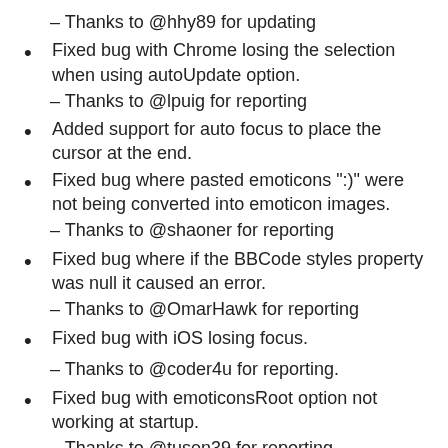– Thanks to @hhy89 for updating
Fixed bug with Chrome losing the selection when using autoUpdate option.
– Thanks to @lpuig for reporting
Added support for auto focus to place the cursor at the end.
Fixed bug where pasted emoticons ":)" were not being converted into emoticon images.
– Thanks to @shaoner for reporting
Fixed bug where if the BBCode styles property was null it caused an error.
– Thanks to @OmarHawk for reporting
Fixed bug with iOS losing focus.
– Thanks to @coder4u for reporting.
Fixed bug with emoticonsRoot option not working at startup.
– Thanks to @tusen39 for reporting